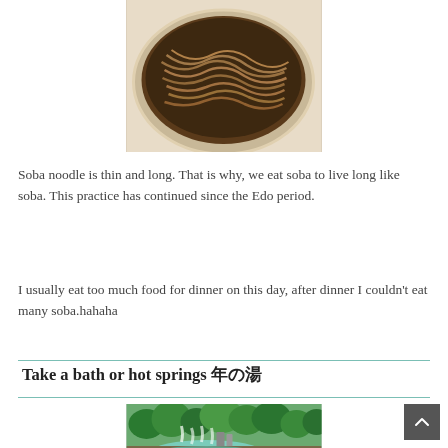[Figure (photo): Bowl of soba noodles in broth, photographed from above on a light wooden surface]
Soba noodle is thin and long. That is why, we eat soba to live long like soba. This practice has continued since the Edo period.
I usually eat too much food for dinner on this day, after dinner I couldn't eat many soba.hahaha
Take a bath or hot springs 年の湯
[Figure (photo): Aerial view of a Japanese hot spring (onsen) with steam rising from turquoise water, surrounded by lush green trees and stone paths]